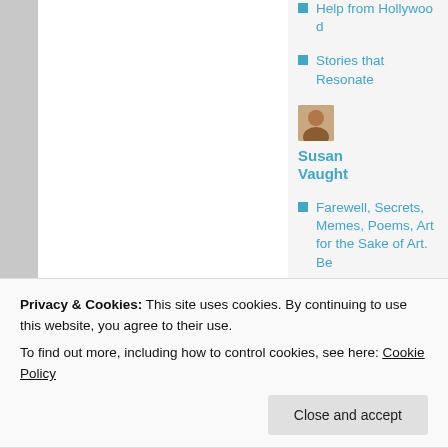Help from Hollywood
Stories that Resonate
Susan Vaught
Farewell, Secrets, Memes, Poems, Art for the Sake of Art. Be
Privacy & Cookies: This site uses cookies. By continuing to use this website, you agree to their use.
To find out more, including how to control cookies, see here: Cookie Policy
Close and accept